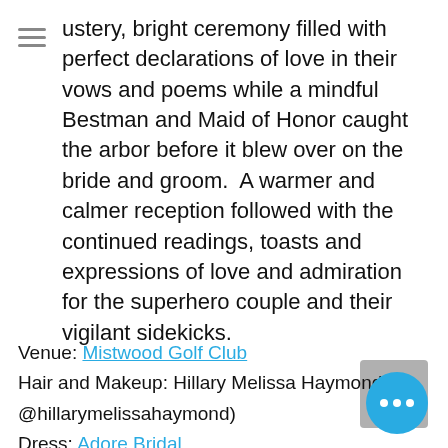ustery, bright ceremony filled with perfect declarations of love in their vows and poems while a mindful Bestman and Maid of Honor caught the arbor before it blew over on the bride and groom.  A warmer and calmer reception followed with the continued readings, toasts and expressions of love and admiration for the superhero couple and their vigilant sidekicks.
Venue: Mistwood Golf Club
Hair and Makeup: Hillary Melissa Haymond (IG @hillarymelissahaymond)
Dress: Adore Bridal
Bridesmaids Dresses: David's Bridal